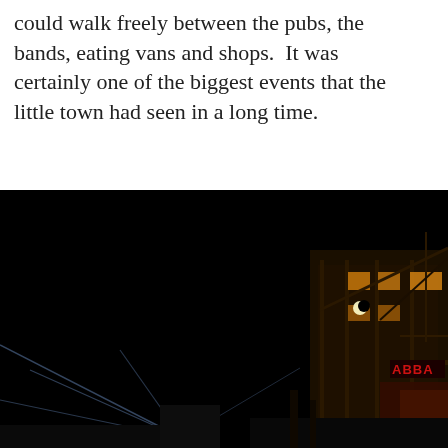could walk freely between the pubs, the bands, eating vans and shops.  It was certainly one of the biggest events that the little town had seen in a long time.
[Figure (photo): Night-time street scene showing a dark sky, a crescent moon, light beams radiating from the lower left, a red illuminated sign reading 'ABBA', and a multi-storey brick building on the right with lit windows.]